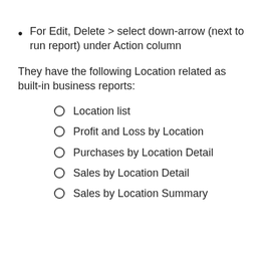For Edit, Delete > select down-arrow (next to run report) under Action column
They have the following Location related as built-in business reports:
Location list
Profit and Loss by Location
Purchases by Location Detail
Sales by Location Detail
Sales by Location Summary